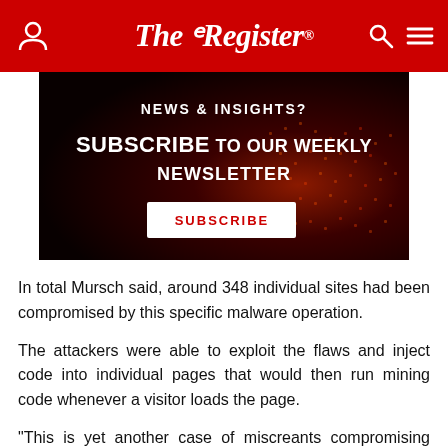The Register
[Figure (infographic): Dark red advertisement banner with circuit board texture. Text reads: NEWS & INSIGHTS? SUBSCRIBE TO OUR WEEKLY NEWSLETTER. White SUBSCRIBE button.]
In total Mursch said, around 348 individual sites had been compromised by this specific malware operation.
The attackers were able to exploit the flaws and inject code into individual pages that would then run mining code whenever a visitor loads the page.
"This is yet another case of miscreants compromising outdated and vulnerable Drupal installations on a large scale," writes Mursch. "If you're a website operator